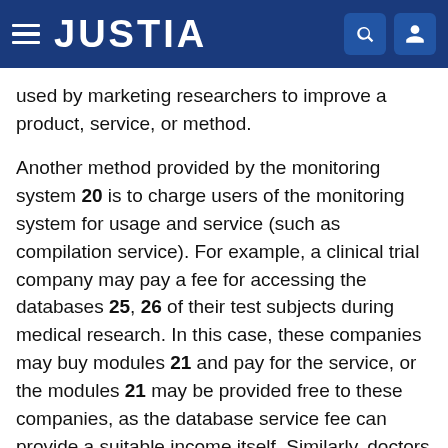JUSTIA
used by marketing researchers to improve a product, service, or method.
Another method provided by the monitoring system 20 is to charge users of the monitoring system for usage and service (such as compilation service). For example, a clinical trial company may pay a fee for accessing the databases 25, 26 of their test subjects during medical research. In this case, these companies may buy modules 21 and pay for the service, or the modules 21 may be provided free to these companies, as the database service fee can provide a suitable income itself. Similarly, doctors may pay for this service to monitor patients; fire fighters and first responders may pay for this service to monitor personnel in hazardous environments; and athletic trainers may pay for this service to monitor athletes. Also, users can pay for the